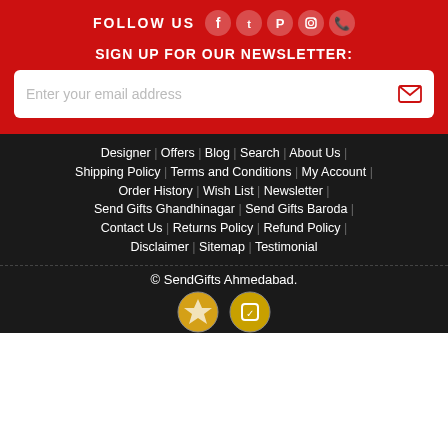FOLLOW US
[Figure (illustration): Social media icons: Facebook, Twitter, Pinterest, Instagram, Phone]
SIGN UP FOR OUR NEWSLETTER:
Enter your email address
Designer | Offers | Blog | Search | About Us |
Shipping Policy | Terms and Conditions | My Account |
Order History | Wish List | Newsletter |
Send Gifts Ghandhinagar | Send Gifts Baroda |
Contact Us | Returns Policy | Refund Policy |
Disclaimer | Sitemap | Testimonial
© SendGifts Ahmedabad.
[Figure (illustration): SECURE SHOPPING badges/icons]